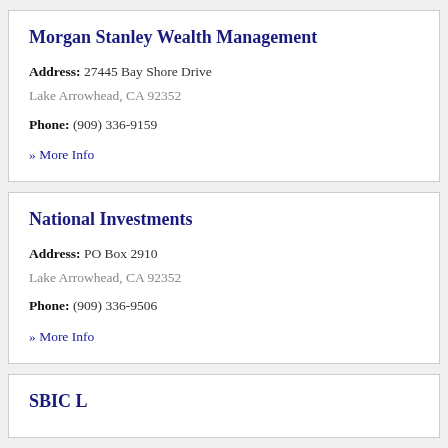Morgan Stanley Wealth Management
Address: 27445 Bay Shore Drive
Lake Arrowhead, CA 92352
Phone: (909) 336-9159
» More Info
National Investments
Address: PO Box 2910
Lake Arrowhead, CA 92352
Phone: (909) 336-9506
» More Info
SBIC L...